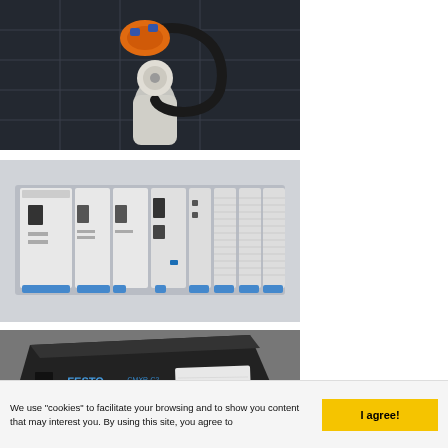[Figure (photo): Industrial robotic arm with orange/blue gripper and white mechanical joint with black cable, dark background]
[Figure (photo): Industrial PLC/controller module rack with multiple grey modules featuring blue accent tabs at the bottom, monochrome image]
[Figure (photo): Dark colored industrial computer or controller device with blue text/logo, angled view]
We use "cookies" to facilitate your browsing and to show you content that may interest you. By using this site, you agree to
I agree!